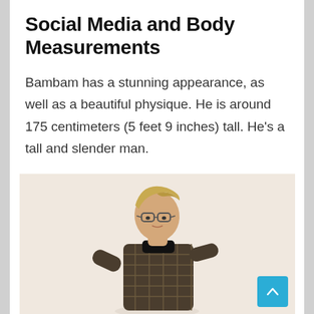Social Media and Body Measurements
Bambam has a stunning appearance, as well as a beautiful physique. He is around 175 centimeters (5 feet 9 inches) tall. He’s a tall and slender man.
[Figure (photo): A young man with blonde hair and glasses, wearing a plaid blazer over a black turtleneck, posing against a light beige background.]